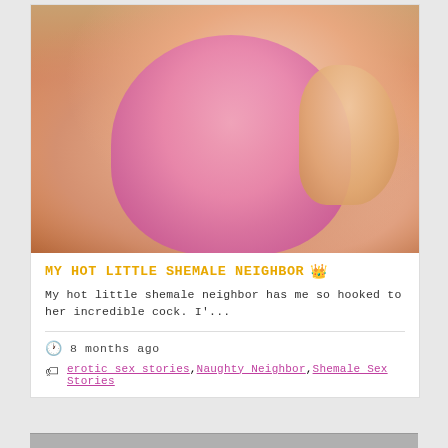[Figure (photo): Close-up photo showing a person wearing pink satin underwear against an orange background, with hands visible]
MY HOT LITTLE SHEMALE NEIGHBOR 👑
My hot little shemale neighbor has me so hooked to her incredible cock. I'...
🕐 8 months ago
erotic sex stories, Naughty Neighbor, Shemale Sex Stories